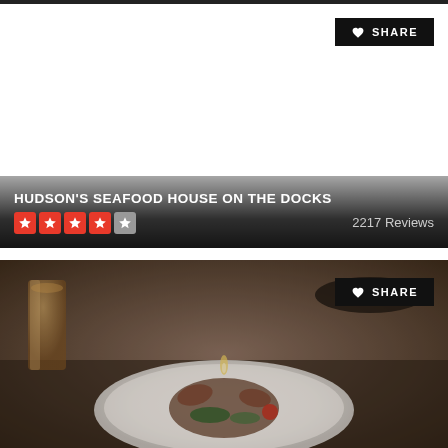[Figure (screenshot): Top section with white background, dark top bar, and a black SHARE button with heart icon in top right]
HUDSON'S SEAFOOD HOUSE ON THE DOCKS
4 out of 5 stars · 2217 Reviews
[Figure (photo): Restaurant food photo showing a plated seafood dish (appears to be lobster or crab) on a white plate, with drinks visible in the background. Dark atmospheric restaurant setting. Black SHARE button with heart icon overlaid in top right.]